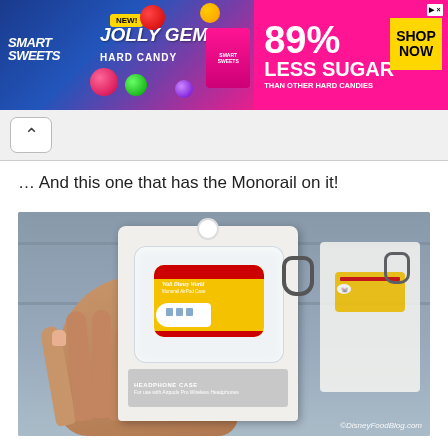[Figure (photo): Smart Sweets Jolly Gems Hard Candy advertisement banner - 89% Less Sugar than other hard candies, with Shop Now button]
[Figure (screenshot): Browser navigation bar with back arrow button]
… And this one that has the Monorail on it!
[Figure (photo): A hand holding a Walt Disney World Monorail headphone/AirPods Pro case in clear packaging with a yellow monorail design. Multiple similar cases visible in background. Watermark reads ©DisneyFoodBlog.com]